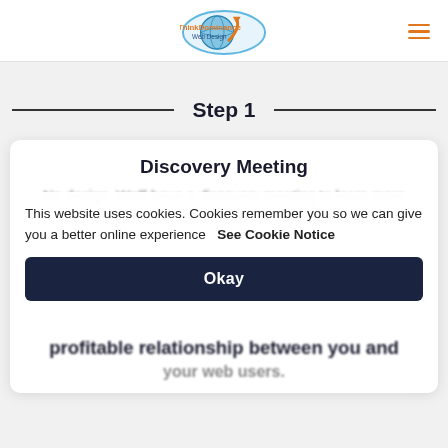[Figure (logo): ThinkDominance Web Design logo — oval shape with globe/earth graphic and orange/blue text]
Step 1
Discovery Meeting
This website uses cookies. Cookies remember you so we can give you a better online experience   See Cookie Notice
Okay
profitable relationship between you and your web users.